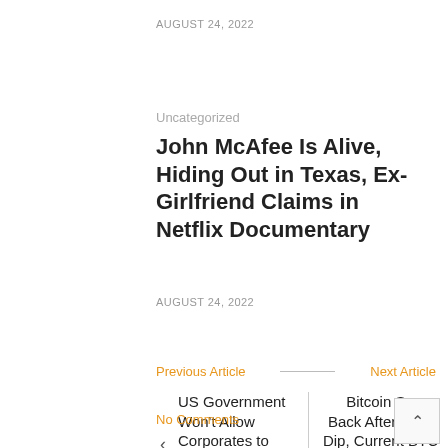AUGUST 24, 2022
Uncategorized
John McAfee Is Alive, Hiding Out in Texas, Ex-Girlfriend Claims in Netflix Documentary
AUGUST 24, 2022
Previous Article
Next Article
US Government Won't Allow Corporates to Keep Replacing Dollars With
Bitcoin Snaps Back After Slight Dip, Current BTC Chart is...
No Comments